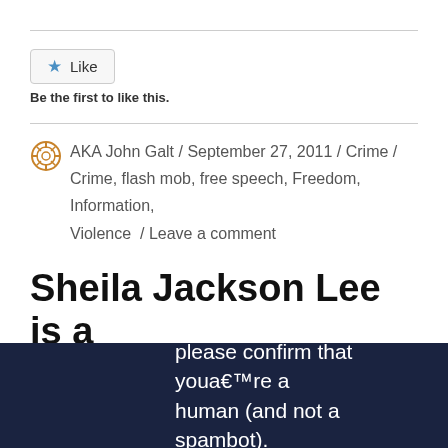[Figure (other): Like button widget with star icon]
Be the first to like this.
AKA John Galt / September 27, 2011 / Crime / Crime, flash mob, free speech, Freedom, Information, Violence / Leave a comment
Sheila Jackson Lee is a Racist
please confirm that youa€™re a human (and not a spambot).